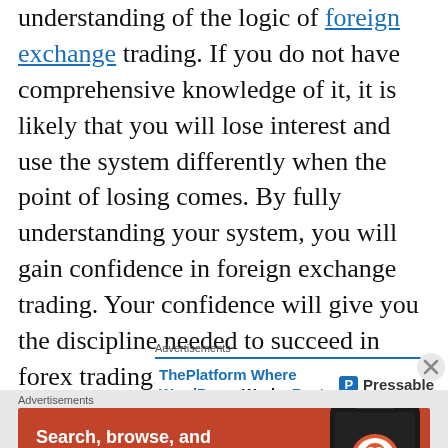understanding of the logic of foreign exchange trading. If you do not have comprehensive knowledge of it, it is likely that you will lose interest and use the system differently when the point of losing comes. By fully understanding your system, you will gain confidence in foreign exchange trading. Your confidence will give you the discipline needed to succeed in forex trading.
Advertisements
[Figure (screenshot): WordPress/Pressable advertisement banner: 'ThePlatform Where WordPress Works Best' with Pressable logo]
Advertisements
[Figure (screenshot): DuckDuckGo advertisement: orange background with phone graphic, text 'Search, browse, and email with more privacy. All in One Free App' and DuckDuckGo logo]